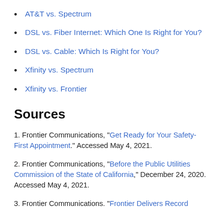AT&T vs. Spectrum
DSL vs. Fiber Internet: Which One Is Right for You?
DSL vs. Cable: Which Is Right for You?
Xfinity vs. Spectrum
Xfinity vs. Frontier
Sources
1. Frontier Communications, “Get Ready for Your Safety-First Appointment.” Accessed May 4, 2021.
2. Frontier Communications, “Before the Public Utilities Commission of the State of California,” December 24, 2020. Accessed May 4, 2021.
3. Frontier Communications. “Frontier Delivers Record